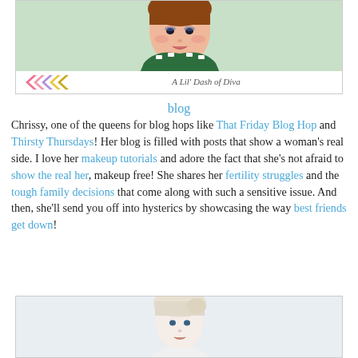[Figure (photo): Portrait photo of a woman in a green patterned halter top with colorful chevron arrows and caption 'A Lil' Dash of Diva']
blog
Chrissy, one of the queens for blog hops like That Friday Blog Hop and Thirsty Thursdays! Her blog is filled with posts that show a woman's real side. I love her makeup tutorials and adore the fact that she's not afraid to show the real her, makeup free! She shares her fertility struggles and the tough family decisions that come along with such a sensitive issue. And then, she'll send you off into hysterics by showcasing the way best friends get down!
[Figure (photo): Portrait photo of a blonde woman with pale hair looking to the side]